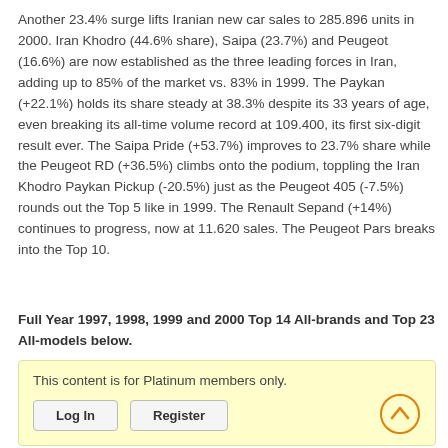Another 23.4% surge lifts Iranian new car sales to 285.896 units in 2000. Iran Khodro (44.6% share), Saipa (23.7%) and Peugeot (16.6%) are now established as the three leading forces in Iran, adding up to 85% of the market vs. 83% in 1999. The Paykan (+22.1%) holds its share steady at 38.3% despite its 33 years of age, even breaking its all-time volume record at 109.400, its first six-digit result ever. The Saipa Pride (+53.7%) improves to 23.7% share while the Peugeot RD (+36.5%) climbs onto the podium, toppling the Iran Khodro Paykan Pickup (-20.5%) just as the Peugeot 405 (-7.5%) rounds out the Top 5 like in 1999. The Renault Sepand (+14%) continues to progress, now at 11.620 sales. The Peugeot Pars breaks into the Top 10.
Full Year 1997, 1998, 1999 and 2000 Top 14 All-brands and Top 23 All-models below.
This content is for Platinum members only.